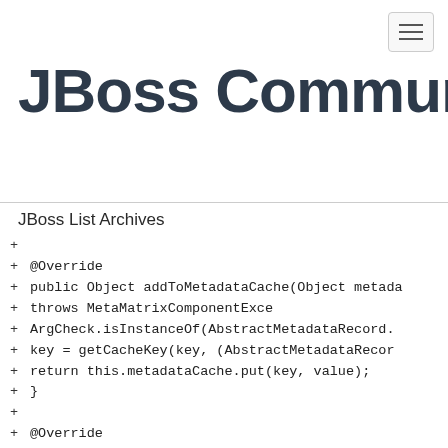JBoss Community
JBoss List Archives
+ @Override
+ public Object addToMetadataCache(Object metada
+ throws MetaMatrixComponentExce
+ ArgCheck.isInstanceOf(AbstractMetadataRecord.
+ key = getCacheKey(key, (AbstractMetadataRecor
+ return this.metadataCache.put(key, value);
+ }
+
+ @Override
+ public Object getFromMetadataCache(Object meta
+ throws MetaMatrixComponentExce
+ ArgCheck.isInstanceOf(AbstractMetadataRecord.
+ key = getCacheKey(key, (AbstractMetadataRecor
+ return this.metadataCache.get(key);
+ }
+